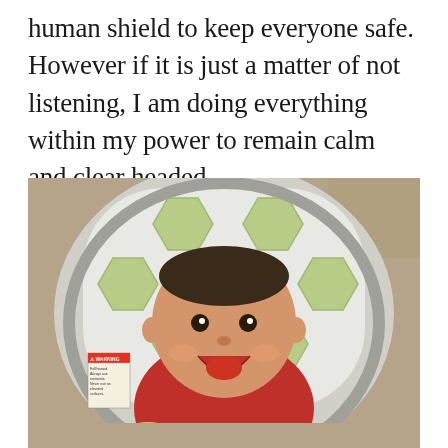human shield to keep everyone safe. However if it is just a matter of not listening, I am doing everything within my power to remain calm and clear headed.
[Figure (photo): A smiling baby wearing a red outfit, sitting in a Fisher-Price bouncer/rocker seat with a grey and green hexagonal pattern. The baby is laughing with mouth open. A warning label is visible on the left side of the seat. Colorful toys are visible at the bottom of the frame. Carpet is visible in the background.]